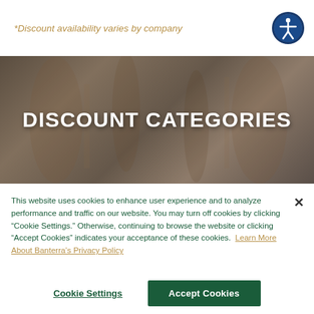*Discount availability varies by company
[Figure (illustration): Accessibility icon: white stick figure inside a blue circle with dark blue border]
DISCOUNT CATEGORIES
[Figure (photo): Dark blurred background photo of people, obscured by dark overlay, behind the Discount Categories title]
This website uses cookies to enhance user experience and to analyze performance and traffic on our website. You may turn off cookies by clicking “Cookie Settings.” Otherwise, continuing to browse the website or clicking “Accept Cookies” indicates your acceptance of these cookies.
Learn More About Banterra’s Privacy Policy
Cookie Settings
Accept Cookies